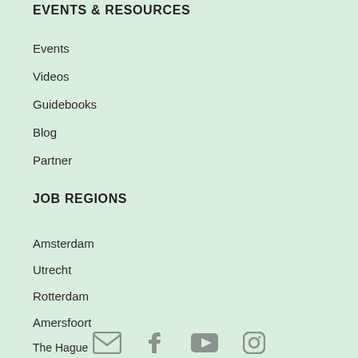EVENTS & RESOURCES
Events
Videos
Guidebooks
Blog
Partner
JOB REGIONS
Amsterdam
Utrecht
Rotterdam
Amersfoort
The Hague
[Figure (illustration): Social media icons row at the bottom: email/envelope, Facebook, YouTube, Instagram (partially visible)]